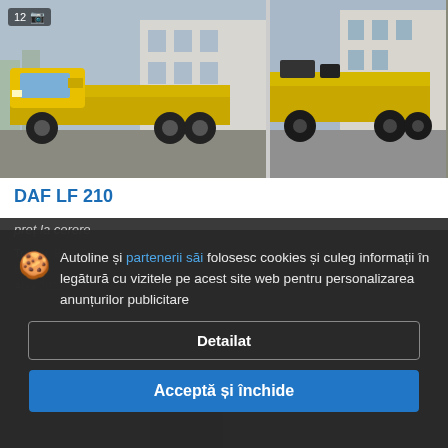[Figure (photo): Yellow DAF LF 210 flatbed tow truck parked on a street, left view with building in background. Badge shows 12 photos.]
[Figure (photo): Yellow DAF LF 210 flatbed/roll-back truck viewed from rear-left angle in a parking area.]
DAF LF 210
preț la cerere
Autoline și partenerii săi folosesc cookies și culeg informații în legătură cu vizitele pe acest site web pentru personalizarea anunțurilor publicitare
Detailat
Acceptă și închide
[Figure (photo): Bottom thumbnail strip showing additional vehicle photos, partially visible.]